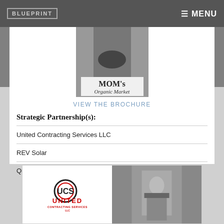BLUEPRINT    ≡ MENU
[Figure (photo): MOM's Organic Market advertisement showing a woman wearing a mask with text 'MOM's Organic Market']
VIEW THE BROCHURE
Strategic Partnership(s):
United Contracting Services LLC
REV Solar
Quick Servant Company, Inc.
[Figure (logo): United Contracting Services LLC logo with UCS circular emblem and red UNITED CONTRACTING SERVICES LLC text, alongside a photo of a worker in a mask]